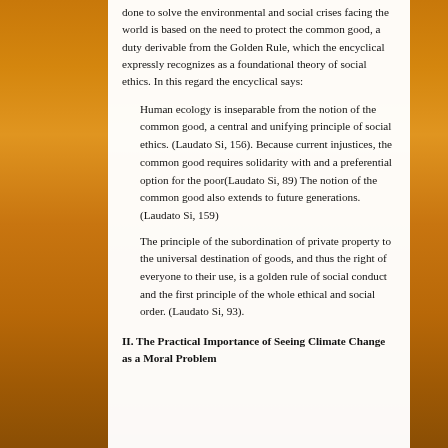done to solve the environmental and social crises facing the world is based on the need to protect the common good, a duty derivable from the Golden Rule, which the encyclical expressly recognizes as a foundational theory of social ethics. In this regard the encyclical says:
Human ecology is inseparable from the notion of the common good, a central and unifying principle of social ethics. (Laudato Si, 156). Because current injustices, the common good requires solidarity with and a preferential option for the poor(Laudato Si, 89) The notion of the common good also extends to future generations.(Laudato Si, 159)
The principle of the subordination of private property to the universal destination of goods, and thus the right of everyone to their use, is a golden rule of social conduct and the first principle of the whole ethical and social order. (Laudato Si, 93).
II. The Practical Importance of Seeing Climate Change as a Moral Problem